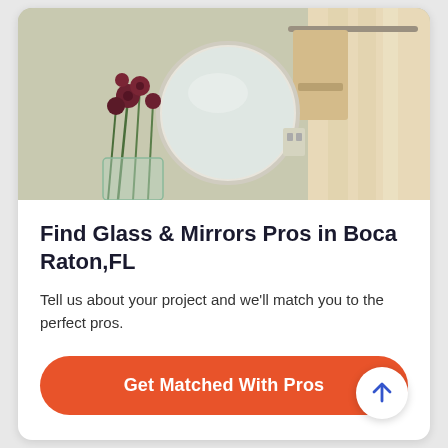[Figure (photo): Bathroom interior with a round mirror on the wall, towel rack with beige towels, dark red flowers in a glass vase, and sheer curtains in the background]
Find Glass & Mirrors Pros in Boca Raton,FL
Tell us about your project and we'll match you to the perfect pros.
Get Matched With Pros